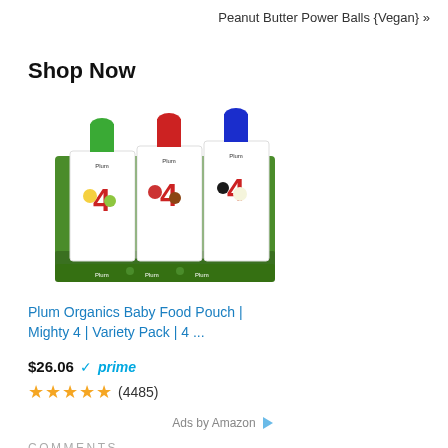Peanut Butter Power Balls {Vegan} »
Shop Now
[Figure (photo): Plum Organics Baby Food Pouch variety pack box with multiple pouches with colored caps (green, red, blue) showing the number 4 and various fruit images]
Plum Organics Baby Food Pouch | Mighty 4 | Variety Pack | 4 ...
$26.06 ✓prime
★★★★★ (4485)
Ads by Amazon ▷
COMMENTS
Chris says